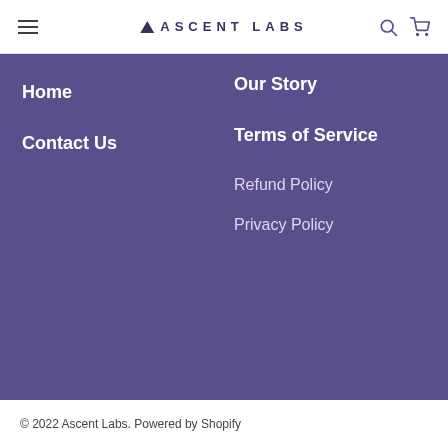ASCENT LABS
Home
Our Story
Contact Us
Terms of Service
Refund Policy
Privacy Policy
© 2022 Ascent Labs. Powered by Shopify